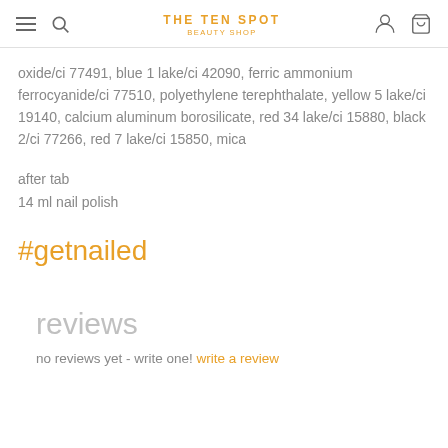THE TEN SPOT | BEAUTY SHOP
oxide/ci 77491, blue 1 lake/ci 42090, ferric ammonium ferrocyanide/ci 77510, polyethylene terephthalate, yellow 5 lake/ci 19140, calcium aluminum borosilicate, red 34 lake/ci 15880, black 2/ci 77266, red 7 lake/ci 15850, mica
after tab
14 ml nail polish
#getnailed
reviews
no reviews yet - write one! write a review